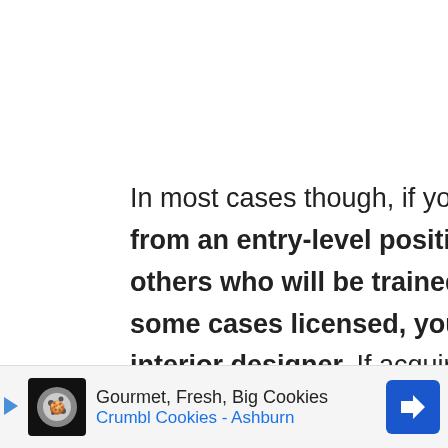In most cases though, if you are willing to start from an entry-level position & compete with others who will be trained or experienced & in some cases licensed, you can become an interior designer. If acquiring formal accreditations is not for
[Figure (other): Grey scroll-to-top button with upward chevron arrow on right side of page]
[Figure (other): Advertisement bar at bottom: Crumbl Cookies - Gourmet, Fresh, Big Cookies - Ashburn, with cookie logo and blue navigation arrow]